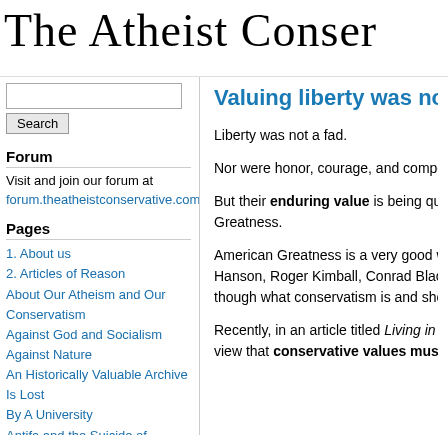The Atheist Conser
Forum
Visit and join our forum at forum.theatheistconservative.com
Pages
1. About us
2. Articles of Reason
About Our Atheism and Our Conservatism
Against God and Socialism
Against Nature
An Historically Valuable Archive Is Lost By A University
Antifa and the Suicide of Nations
Civilization's Fulcrum Moment
Communism is Secular Christianity
End of an Era
Enlightenment, Atheism, Reason, and the Humanist Left
Valuing liberty was not
Liberty was not a fad.
Nor were honor, courage, and compe
But their enduring value is being qu Greatness.
American Greatness is a very good w Hanson, Roger Kimball, Conrad Blac though what conservatism is and sho
Recently, in an article titled Living in A view that conservative values must